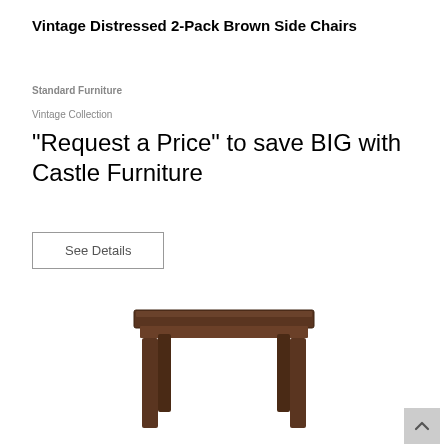Vintage Distressed 2-Pack Brown Side Chairs
Standard Furniture
Vintage Collection
"Request a Price" to save BIG with Castle Furniture
See Details
[Figure (photo): A small square wooden side table with dark brown distressed finish and four tapered legs, photographed on a white background.]